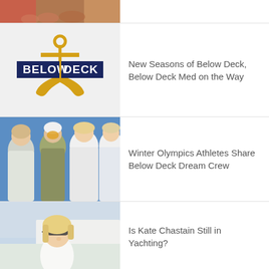[Figure (photo): Cropped photo of people's torsos/arms, partially visible at top of page]
[Figure (logo): Below Deck TV show logo: gold anchor above navy blue bar with 'BELOW DECK' in bold white text, on light grey background]
New Seasons of Below Deck, Below Deck Med on the Way
[Figure (photo): Winter Olympics athletes in white USA team uniforms posing together against blue sky background]
Winter Olympics Athletes Share Below Deck Dream Crew
[Figure (photo): Blonde woman wearing sunglasses on a yacht, looking upward]
Is Kate Chastain Still in Yachting?